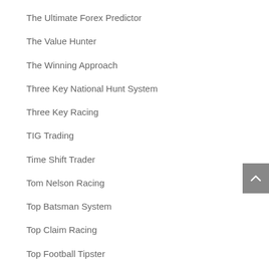The Ultimate Forex Predictor
The Value Hunter
The Winning Approach
Three Key National Hunt System
Three Key Racing
TIG Trading
Time Shift Trader
Tom Nelson Racing
Top Batsman System
Top Claim Racing
Top Football Tipster
Top Form Racing
Top Greyhound Tips
Top Horse Racing Profits